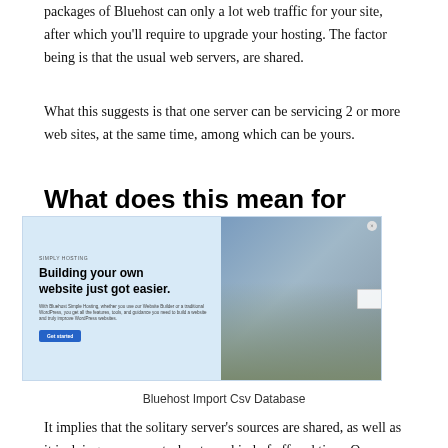Well, the important things is, the fundamental webhosting packages of Bluehost can only a lot web traffic for your site, after which you'll require to upgrade your hosting. The factor being is that the usual web servers, are shared.
What this suggests is that one server can be servicing 2 or more web sites, at the same time, among which can be yours.
What does this mean for you?
[Figure (screenshot): Bluehost website screenshot showing 'Building your own website just got easier.' headline with a person cooking on the right side.]
Bluehost Import Csv Database
It implies that the solitary server's sources are shared, as well as it is doing numerous tasks at any kind of offered time. Once your